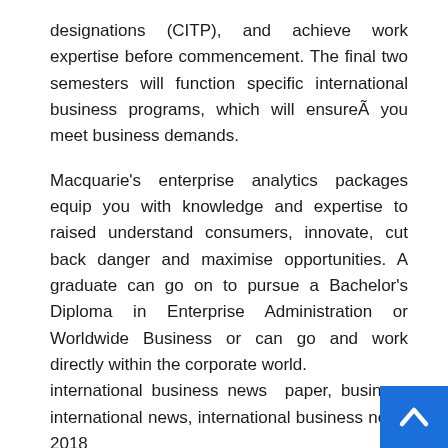designations (CITP), and achieve work expertise before commencement. The final two semesters will function specific international business programs, which will ensureÃ you meet business demands.
Macquarie's enterprise analytics packages equip you with knowledge and expertise to raised understand consumers, innovate, cut back danger and maximise opportunities. A graduate can go on to pursue a Bachelor's Diploma in Enterprise Administration or Worldwide Business or can go and work directly within the corporate world. international business news paper, business international news, international business news 2018
We reside and wok in a worldwide market, no longer to corporations compete for business within the ide country and city. The module has a 3 dimensional approach
[Figure (other): Blue scroll-to-top button with white upward chevron/arrow in the bottom-right corner of the page]